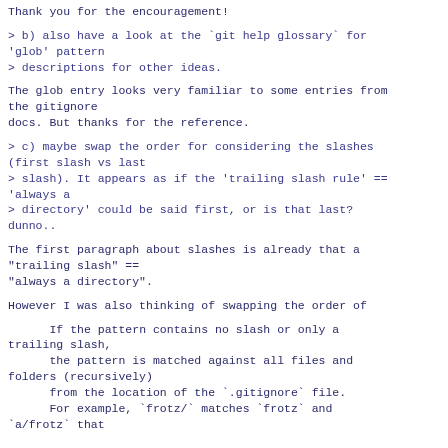Thank you for the encouragement!
> b) also have a look at the `git help glossary` for 'glob' pattern
> descriptions for other ideas.
The glob entry looks very familiar to some entries from the gitignore
docs. But thanks for the reference.
> c) maybe swap the order for considering the slashes (first slash vs last
> slash). It appears as if the 'trailing slash rule' == 'always a
> directory' could be said first, or is that last? dunno..
The first paragraph about slashes is already that a "trailing slash" ==
"always a directory".
However I was also thinking of swapping the order of
If the pattern contains no slash or only a trailing slash,
      the pattern is matched against all files and folders (recursively)
      from the location of the `.gitignore` file.
      For example, `frotz/` matches `frotz` and
`a/frotz` that